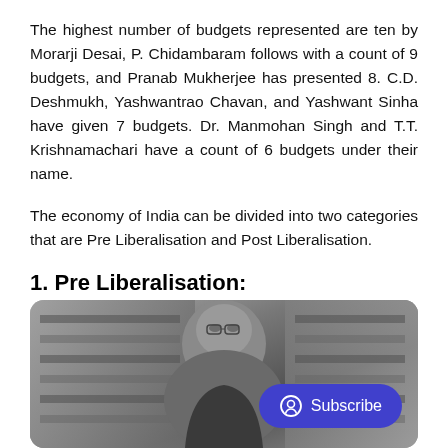The highest number of budgets represented are ten by Morarji Desai, P. Chidambaram follows with a count of 9 budgets, and Pranab Mukherjee has presented 8. C.D. Deshmukh, Yashwantrao Chavan, and Yashwant Sinha have given 7 budgets. Dr. Manmohan Singh and T.T. Krishnamachari have a count of 6 budgets under their name.
The economy of India can be divided into two categories that are Pre Liberalisation and Post Liberalisation.
1. Pre Liberalisation:
[Figure (photo): Black and white photograph of a man wearing glasses, with bookshelves visible in the background. A blue Subscribe button with a user icon overlay is visible in the bottom right.]